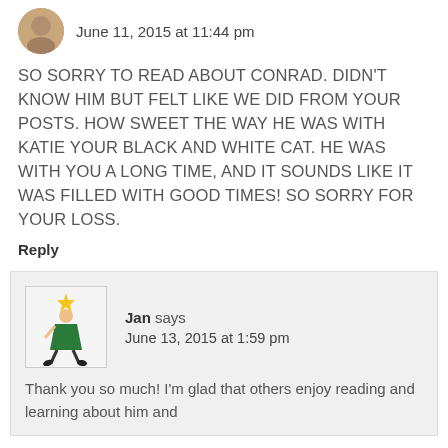June 11, 2015 at 11:44 pm
SO SORRY TO READ ABOUT CONRAD. DIDN'T KNOW HIM BUT FELT LIKE WE DID FROM YOUR POSTS. HOW SWEET THE WAY HE WAS WITH KATIE YOUR BLACK AND WHITE CAT. HE WAS WITH YOU A LONG TIME, AND IT SOUNDS LIKE IT WAS FILLED WITH GOOD TIMES! SO SORRY FOR YOUR LOSS.
Reply
Jan says
June 13, 2015 at 1:59 pm
Thank you so much! I'm glad that others enjoy reading and learning about him and